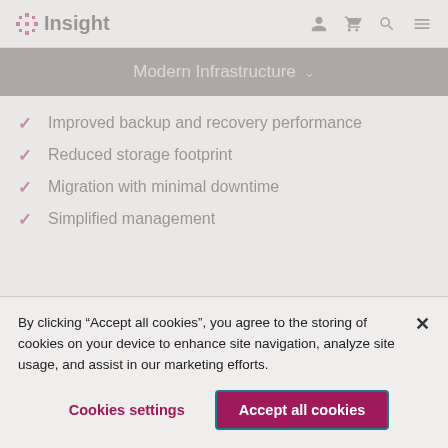Insight
Modern Infrastructure
Improved backup and recovery performance
Reduced storage footprint
Migration with minimal downtime
Simplified management
By clicking “Accept all cookies”, you agree to the storing of cookies on your device to enhance site navigation, analyze site usage, and assist in our marketing efforts.
Cookies settings
Accept all cookies